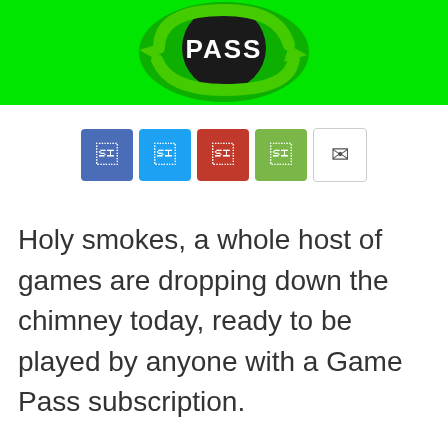[Figure (logo): Game Pass logo on bright green background with circular green arrow]
[Figure (infographic): Row of five social media icon buttons: Facebook (blue), Twitter (light blue), YouTube (red), Google Plus (green), Email (white/outlined)]
Holy smokes, a whole host of games are dropping down the chimney today, ready to be played by anyone with a Game Pass subscription.